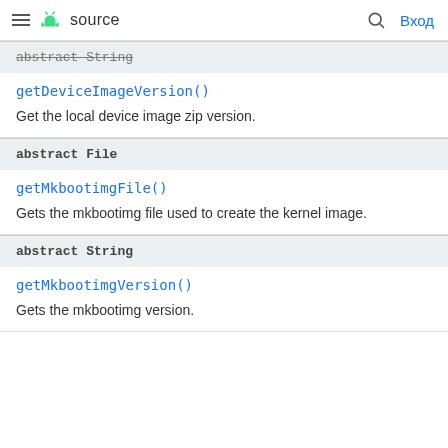≡ 🤖 source  🔍 Вход
abstract String
getDeviceImageVersion()
Get the local device image zip version.
abstract File
getMkbootimgFile()
Gets the mkbootimg file used to create the kernel image.
abstract String
getMkbootimgVersion()
Gets the mkbootimg version.